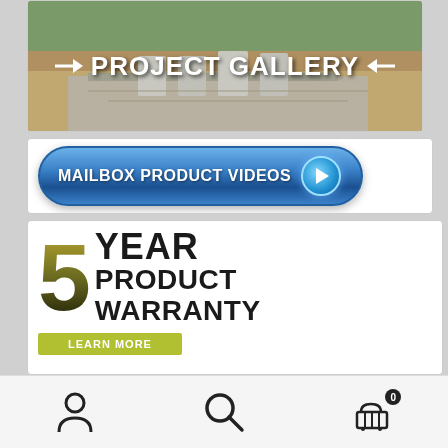[Figure (photo): Project Gallery banner with photo of stainless steel mailboxes on a concrete pad outdoors, with white arrow icons and 'PROJECT GALLERY' text overlay]
[Figure (screenshot): Blue rounded button labeled 'MAILBOX PRODUCT VIDEOS' with a circular blue play button icon on the right]
[Figure (infographic): 5 Year Product Warranty badge: large olive/gold '5' with 'YEAR PRODUCT WARRANTY' text in black, and a 'LEARN MORE' green button below]
[Figure (infographic): Bottom navigation bar with user account icon, search icon, and shopping cart icon with badge showing '0']